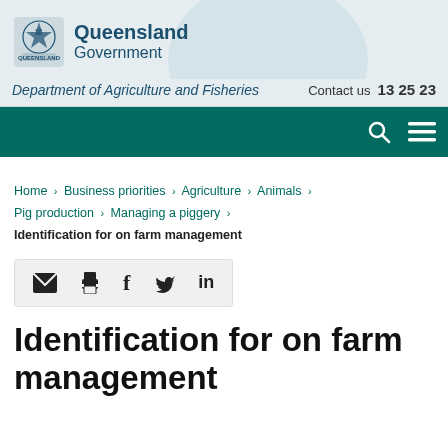[Figure (logo): Queensland Government crest/logo with lion and text]
Queensland Government
Department of Agriculture and Fisheries
Contact us  13 25 23
[Figure (other): Green navigation bar with search and menu icons]
Home > Business priorities > Agriculture > Animals > Pig production > Managing a piggery > Identification for on farm management
[Figure (other): Social share bar with email, print, Facebook, Twitter, LinkedIn icons]
Identification for on farm management